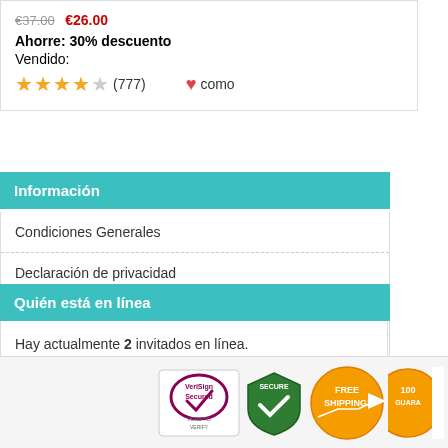Ahorre: 30% descuento
Vendido:
★★★★☆ (777) ♥ como
Información
Condiciones Generales
Declaración de privacidad
Condiciones de Uso
Contactar con Nosotros
Mapa Web
Quién está en línea
Hay actualmente 2 invitados en línea.
[Figure (logo): Trust badges: VeriSign Secured, Secure checkmark shield, Free Shipping, Satisfaction 100% Guarantee]